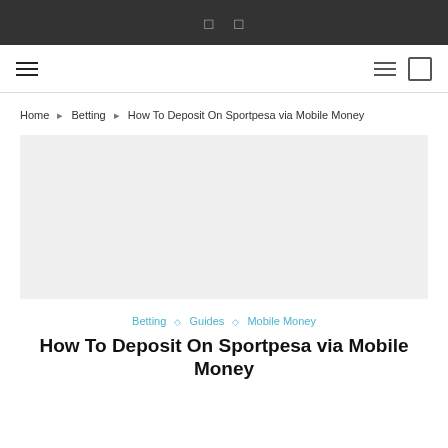Social icons nav bar
Navigation bar with hamburger menu icons and search
Home > Betting > How To Deposit On Sportpesa via Mobile Money
[Figure (other): Grey advertisement placeholder block]
Betting ◇ Guides ◇ Mobile Money
How To Deposit On Sportpesa via Mobile Money